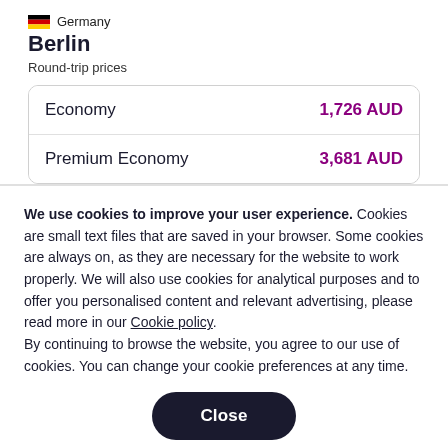Germany
Berlin
Round-trip prices
| Class | Price |
| --- | --- |
| Economy | 1,726 AUD |
| Premium Economy | 3,681 AUD |
We use cookies to improve your user experience. Cookies are small text files that are saved in your browser. Some cookies are always on, as they are necessary for the website to work properly. We will also use cookies for analytical purposes and to offer you personalised content and relevant advertising, please read more in our Cookie policy.
By continuing to browse the website, you agree to our use of cookies. You can change your cookie preferences at any time.
Close
Set your cookie preferences